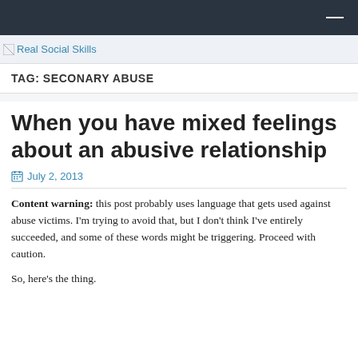Real Social Skills
TAG: SECONARY ABUSE
When you have mixed feelings about an abusive relationship
July 2, 2013
Content warning: this post probably uses language that gets used against abuse victims. I'm trying to avoid that, but I don't think I've entirely succeeded, and some of these words might be triggering. Proceed with caution.
So, here's the thing.